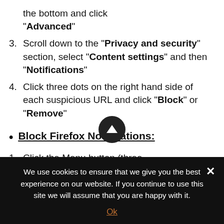the bottom and click "Advanced"
3. Scroll down to the "Privacy and security" section, select "Content settings" and then "Notifications"
4. Click three dots on the right hand side of each suspicious URL and click "Block" or "Remove"
• Block Firefox Notifications:
1. Click the Menu button (three bars) on the right upper corner of
We use cookies to ensure that we give you the best experience on our website. If you continue to use this site we will assume that you are happy with it.
Ok